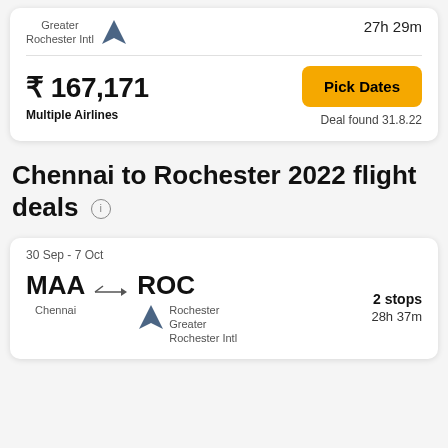Greater Rochester Intl
27h 29m
₹ 167,171
Pick Dates
Multiple Airlines
Deal found 31.8.22
Chennai to Rochester 2022 flight deals
30 Sep - 7 Oct
MAA → ROC
Chennai
Rochester Greater Rochester Intl
2 stops
28h 37m